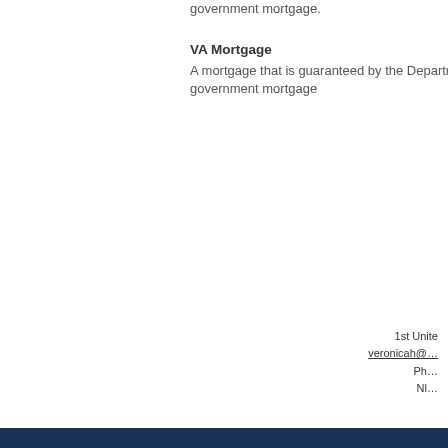government mortgage.
VA Mortgage
A mortgage that is guaranteed by the Department government mortgage
1st Unite
veronicah@...
Ph...
Nl...